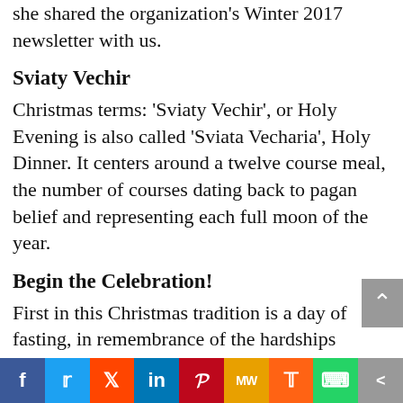she shared the organization's Winter 2017 newsletter with us.
Sviaty Vechir
Christmas terms: ‘Sviaty Vechir’, or Holy Evening is also called ‘Sviata Vecharia’, Holy Dinner. It centers around a twelve course meal, the number of courses dating back to pagan belief and representing each full moon of the year.
Begin the Celebration!
First in this Christmas tradition is a day of fasting, in remembrance of the hardships endured by Mary and Joseph
[Figure (infographic): Social media sharing bar with icons for Facebook, Twitter, Reddit, LinkedIn, Pinterest, MeWe, Mix, WhatsApp, and Share]